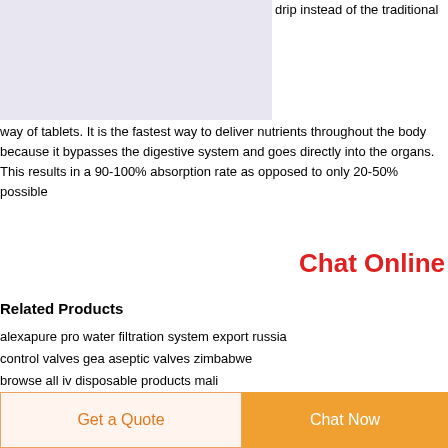[Figure (photo): Medical IV drip image with light purple/lavender background]
drip instead of the traditional way of tablets. It is the fastest way to deliver nutrients throughout the body because it bypasses the digestive system and goes directly into the organs. This results in a 90-100% absorption rate as opposed to only 20-50% possible
Chat Online
Related Products
alexapure pro water filtration system export russia
control valves gea aseptic valves zimbabwe
browse all iv disposable products mali
medical iv set uae
cost enfit extension sets
export medical tubing connectors
tunisia iv kit price
Get a Quote | Chat Now